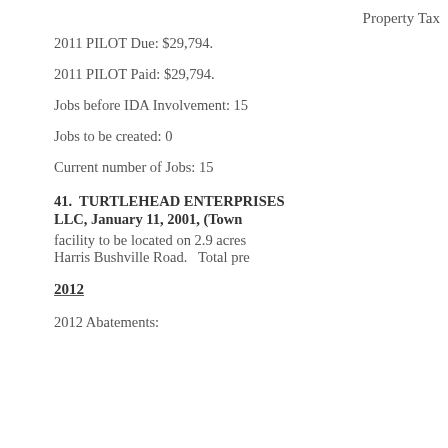Property Tax
2011 PILOT Due: $29,794.
2011 PILOT Paid: $29,794.
Jobs before IDA Involvement: 15
Jobs to be created: 0
Current number of Jobs: 15
41.  TURTLEHEAD ENTERPRISES LLC, January 11, 2001, (Town
facility to be located on 2.9 acres Harris Bushville Road.   Total pre
2012
2012 Abatements: